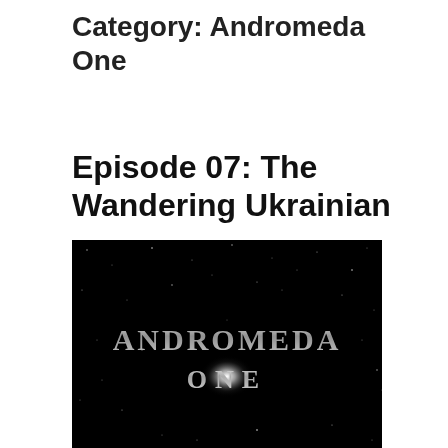Category: Andromeda One
Episode 07: The Wandering Ukrainian
[Figure (photo): Black background with starfield and silver metallic text reading 'ANDROMEDA ONE' with a bright central glow/flare effect, resembling a sci-fi title card.]